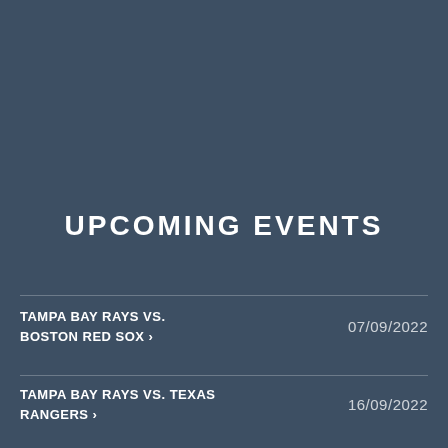UPCOMING EVENTS
TAMPA BAY RAYS VS. BOSTON RED SOX › 07/09/2022
TAMPA BAY RAYS VS. TEXAS RANGERS › 16/09/2022